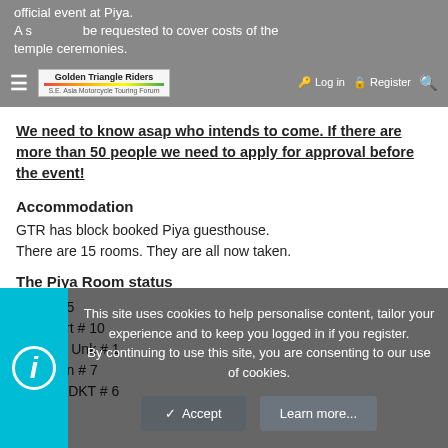official event at Piya. A s... be requested to cover costs of the temple ceremonies.
We need to know asap who intends to come. If there are more than 50 people we need to apply for approval before the event!
Accommodation
GTR has block booked Piya guesthouse.
There are 15 rooms. They are all now taken.
The Piya Room status
1. Ian # 5
2. Robert # 10
3. David Unk # 1
4. Jurgen # 7
5. Dave DKT # 6
This site uses cookies to help personalise content, tailor your experience and to keep you logged in if you register. By continuing to use this site, you are consenting to our use of cookies.